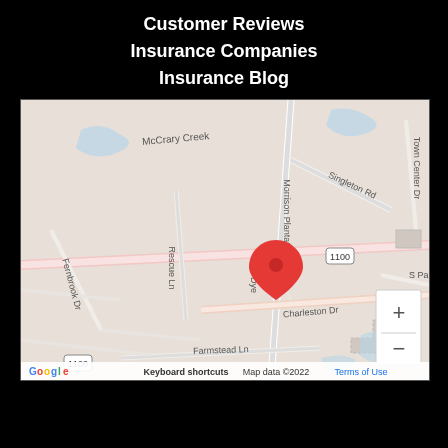Customer Reviews
Insurance Companies
Insurance Blog
[Figure (map): Google Maps showing location near Morrison Plantation Pkwy with red pin marker, surrounded by streets including McCrary Creek, Singleton Rd, Charleston Dr, Farmstead Ln, Rescue Ln, Fernbrook Dr, S Park, Town Center Dr. Google logo and map data 2022 shown at bottom.]